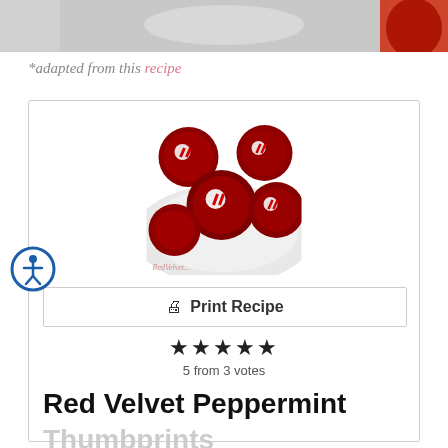[Figure (photo): Top portion of a food photo showing cookies on a plate, partially cropped]
*adapted from this recipe
[Figure (photo): Red velvet peppermint thumbprint cookies on a white plate, with red and white striped peppermint candies pressed into the tops]
Print Recipe
5 from 3 votes
Red Velvet Peppermint Thumbprints